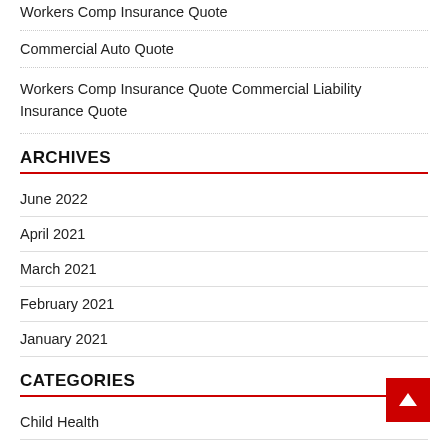Workers Comp Insurance Quote
Commercial Auto Quote
Workers Comp Insurance Quote Commercial Liability Insurance Quote
ARCHIVES
June 2022
April 2021
March 2021
February 2021
January 2021
CATEGORIES
Child Health
Depression